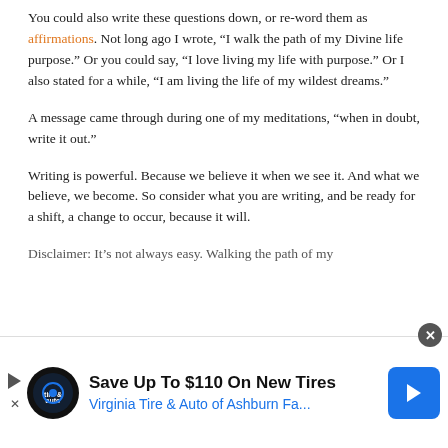You could also write these questions down, or re-word them as affirmations. Not long ago I wrote, “I walk the path of my Divine life purpose.” Or you could say, “I love living my life with purpose.” Or I also stated for a while, “I am living the life of my wildest dreams.”
A message came through during one of my meditations, “when in doubt, write it out.”
Writing is powerful. Because we believe it when we see it. And what we believe, we become. So consider what you are writing, and be ready for a shift, a change to occur, because it will.
Disclaimer: It’s not always easy. Walking the path of my
[Figure (other): Advertisement banner: Save Up To $110 On New Tires - Virginia Tire & Auto of Ashburn Fa...]